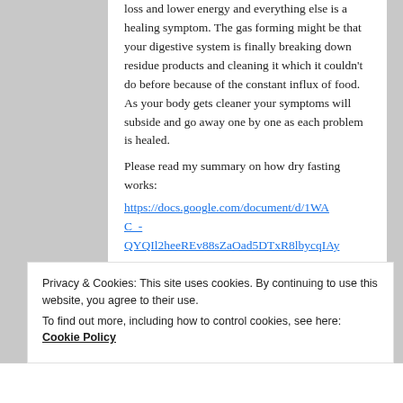The only true symptom of fasting is weight loss and lower energy and everything else is a healing symptom. The gas forming might be that your digestive system is finally breaking down residue products and cleaning it which it couldn't do before because of the constant influx of food. As your body gets cleaner your symptoms will subside and go away one by one as each problem is healed.
Please read my summary on how dry fasting works:
https://docs.google.com/document/d/1WAC_-QYQIl2heeREv88sZaOad5DTxR8lbycqIAy
Privacy & Cookies: This site uses cookies. By continuing to use this website, you agree to their use.
To find out more, including how to control cookies, see here: Cookie Policy
Close and accept